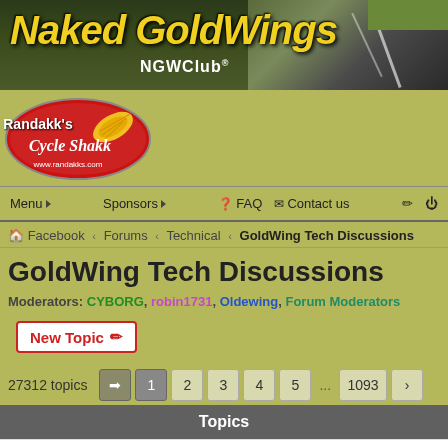[Figure (screenshot): Naked GoldWings NGWClub banner with yellow stylized text and road background]
[Figure (logo): Randakk's Cycle Shakk logo - red oval with yellow wing and script text, www.randakks.com]
Menu ▾   Sponsors ▾   ? FAQ   ✉ Contact us
🏠 Facebook ‹ Forums ‹ Technical ‹ GoldWing Tech Discussions
GoldWing Tech Discussions
Moderators: CYBORG, robin1731, Oldewing, Forum Moderators
New Topic ✏
27312 topics  ➡ 1 2 3 4 5 ... 1093 >
Topics
Carb Kits - A Comparison